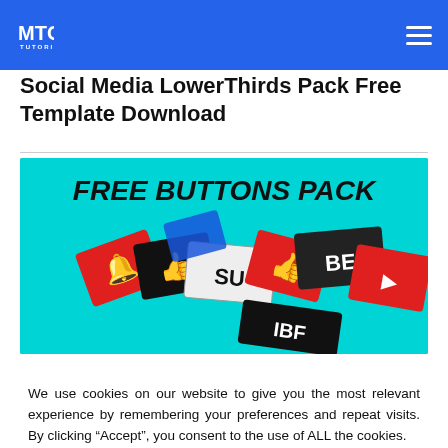MTC TUTORIALS
Social Media LowerThirds Pack Free Template Download
[Figure (illustration): Banner image with cyan background showing 'FREE BUTTONS PACK' title text and scattered social media subscribe/like button graphics in red, black and white]
We use cookies on our website to give you the most relevant experience by remembering your preferences and repeat visits. By clicking “Accept”, you consent to the use of ALL the cookies.
Do not sell my personal information.